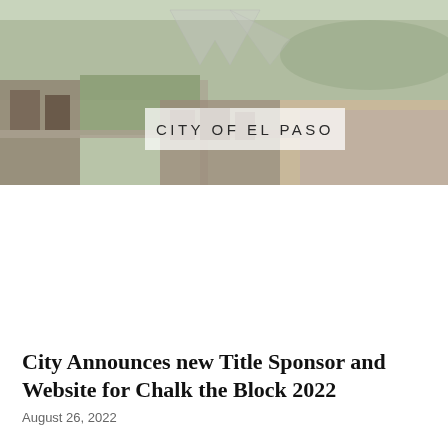[Figure (photo): Aerial photograph of El Paso city with a large star-shaped logo overlay and 'CITY OF EL PASO' text on a semi-transparent white banner in the center of the image.]
City Announces new Title Sponsor and Website for Chalk the Block 2022
August 26, 2022